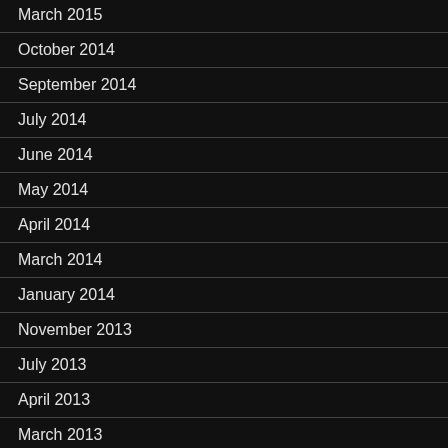March 2015
October 2014
September 2014
July 2014
June 2014
May 2014
April 2014
March 2014
January 2014
November 2013
July 2013
April 2013
March 2013